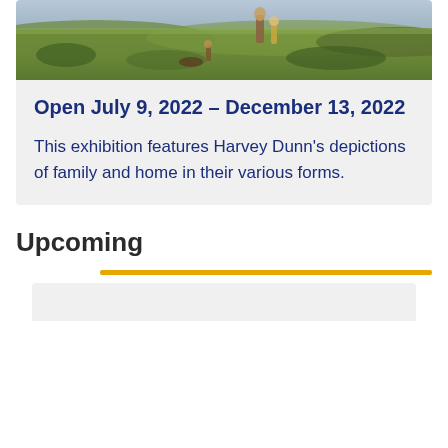[Figure (photo): Painting showing figures in a field landscape, partial view at top of card]
Open July 9, 2022 – December 13, 2022
This exhibition features Harvey Dunn's depictions of family and home in their various forms.
Upcoming